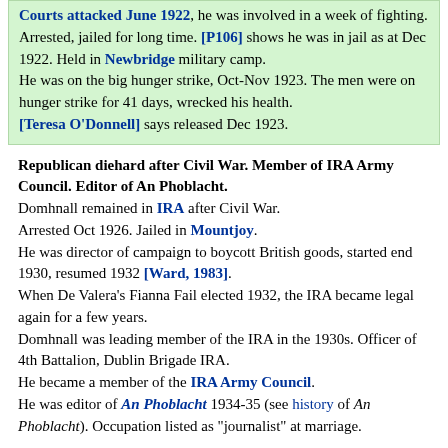Courts attacked June 1922, he was involved in a week of fighting. Arrested, jailed for long time. [P106] shows he was in jail as at Dec 1922. Held in Newbridge military camp.
He was on the big hunger strike, Oct-Nov 1923. The men were on hunger strike for 41 days, wrecked his health.
[Teresa O'Donnell] says released Dec 1923.
Republican diehard after Civil War. Member of IRA Army Council. Editor of An Phoblacht.
Domhnall remained in IRA after Civil War.
Arrested Oct 1926. Jailed in Mountjoy.
He was director of campaign to boycott British goods, started end 1930, resumed 1932 [Ward, 1983].
When De Valera's Fianna Fail elected 1932, the IRA became legal again for a few years.
Domhnall was leading member of the IRA in the 1930s.
Officer of 4th Battalion, Dublin Brigade IRA.
He became a member of the IRA Army Council.
He was editor of An Phoblacht 1934-35 (see history of An Phoblacht). Occupation listed as "journalist" at marriage.
Domhnall mar 28 Feb 1935 to Sighle Humphreys